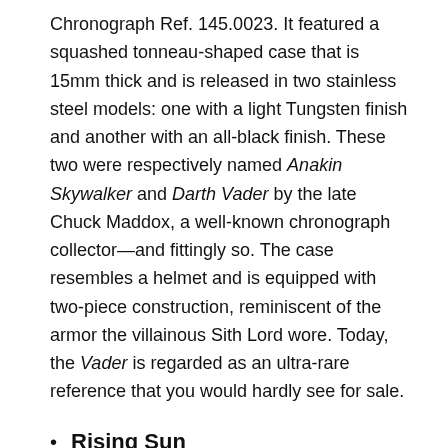Chronograph Ref. 145.0023. It featured a squashed tonneau-shaped case that is 15mm thick and is released in two stainless steel models: one with a light Tungsten finish and another with an all-black finish. These two were respectively named Anakin Skywalker and Darth Vader by the late Chuck Maddox, a well-known chronograph collector—and fittingly so. The case resembles a helmet and is equipped with two-piece construction, reminiscent of the armor the villainous Sith Lord wore. Today, the Vader is regarded as an ultra-rare reference that you would hardly see for sale.
Rising Sun
Being an official timekeeper of the Olympics, Omega creates watches exclusive for international sporting events. Among the latest are the five new Speedmasters models released for the 2020 Olympics and one of them was given the